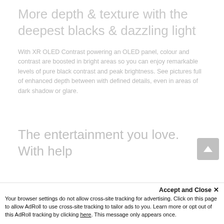More depth & texture with the deepest blacks & dazzling light
With XR OLED Contrast powering an OLED panel, colour and contrast are boosted in bright areas so you can enjoy remarkable levels of pure black contrast and peak brightness. See pictures full of enhanced depth between with defined details, even in areas of dark shadow or glare.
The entertainment you love. With help
Accept and Close ×
Your browser settings do not allow cross-site tracking for advertising. Click on this page to allow AdRoll to use cross-site tracking to tailor ads to you. Learn more or opt out of this AdRoll tracking by clicking here. This message only appears once.